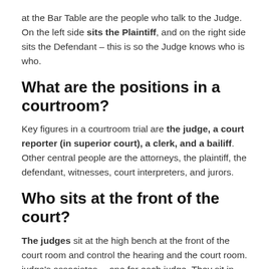at the Bar Table are the people who talk to the Judge. On the left side sits the Plaintiff, and on the right side sits the Defendant – this is so the Judge knows who is who.
What are the positions in a courtroom?
Key figures in a courtroom trial are the judge, a court reporter (in superior court), a clerk, and a bailiff. Other central people are the attorneys, the plaintiff, the defendant, witnesses, court interpreters, and jurors.
Who sits at the front of the court?
The judges sit at the high bench at the front of the court room and control the hearing and the court room. judge's associates —one for each judge. They sit in front of the judges and